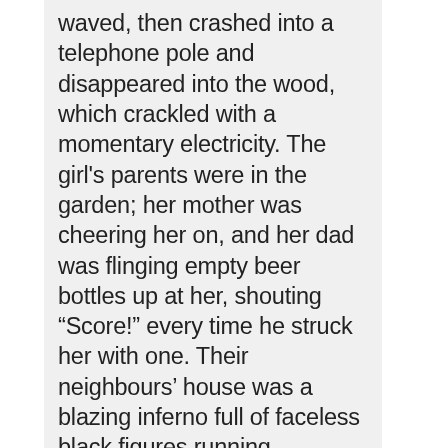waved, then crashed into a telephone pole and disappeared into the wood, which crackled with a momentary electricity. The girl's parents were in the garden; her mother was cheering her on, and her dad was flinging empty beer bottles up at her, shouting “Score!” every time he struck her with one. Their neighbours’ house was a blazing inferno full of faceless black figures running frantically from room to room. Further down the street bulldozers and earth-movers and cranes and hundreds of men in hard hats were busy knocking down houses to make room for a motorway that meandered back and forth through the